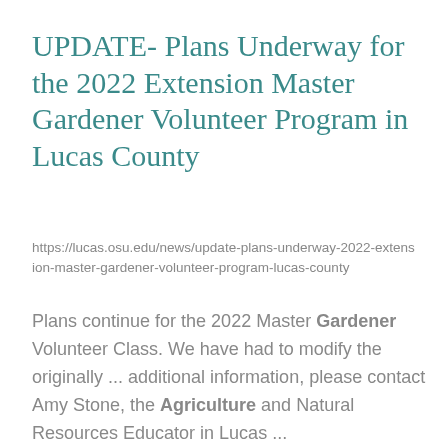UPDATE- Plans Underway for the 2022 Extension Master Gardener Volunteer Program in Lucas County
https://lucas.osu.edu/news/update-plans-underway-2022-extension-master-gardener-volunteer-program-lucas-county
Plans continue for the 2022 Master Gardener Volunteer Class. We have had to modify the originally ... additional information, please contact Amy Stone, the Agriculture and Natural Resources Educator in Lucas ...